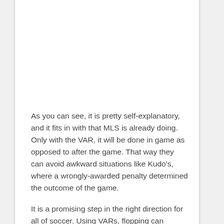As you can see, it is pretty self-explanatory, and it fits in with that MLS is already doing. Only with the VAR, it will be done in game as opposed to after the game. That way they can avoid awkward situations like Kudo's, where a wrongly-awarded penalty determined the outcome of the game.
It is a promising step in the right direction for all of soccer. Using VARs, flopping can effectively be cut out of the game. It has long been seen as arguably the biggest bugaboo of the most beautiful game and if a quick call